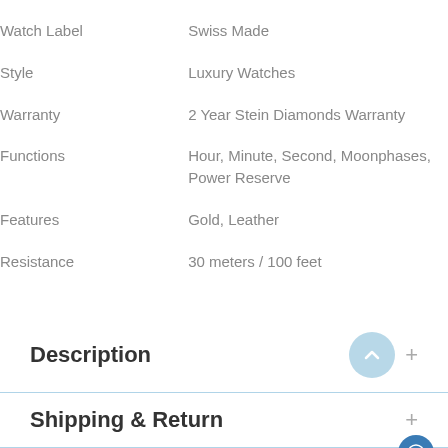| Attribute | Value |
| --- | --- |
| Watch Label | Swiss Made |
| Style | Luxury Watches |
| Warranty | 2 Year Stein Diamonds Warranty |
| Functions | Hour, Minute, Second, Moonphases, Power Reserve |
| Features | Gold, Leather |
| Resistance | 30 meters / 100 feet |
Description
Shipping & Return